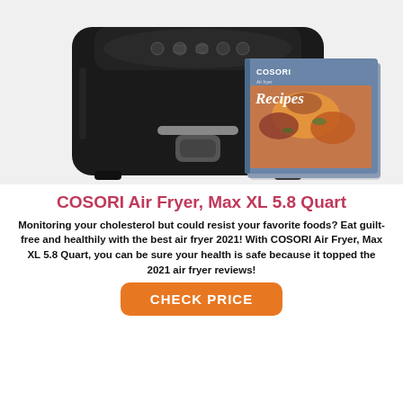[Figure (photo): COSORI Air Fryer Max XL 5.8 Quart product photo in black with digital display on top, shown alongside a COSORI Recipes cookbook with food on the cover.]
COSORI Air Fryer, Max XL 5.8 Quart
Monitoring your cholesterol but could resist your favorite foods? Eat guilt-free and healthily with the best air fryer 2021! With COSORI Air Fryer, Max XL 5.8 Quart, you can be sure your health is safe because it topped the 2021 air fryer reviews!
CHECK PRICE